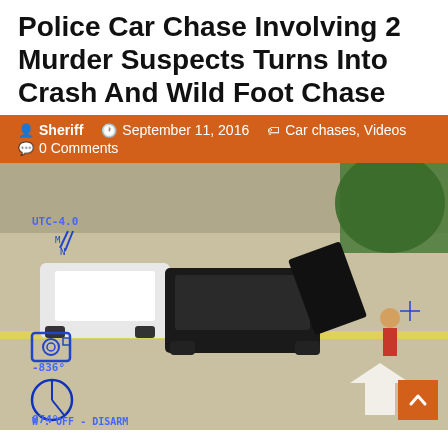Police Car Chase Involving 2 Murder Suspects Turns Into Crash And Wild Foot Chase
Sheriff   September 11, 2016   Car chases, Videos   0 Comments
[Figure (photo): Aerial/helicopter footage of a car crash scene showing a black SUV crashed into another vehicle on a road/intersection, with police overlay HUD data showing UTC-4.0, compass bearing 874, -836, and text 'W: OFF - DISARM' at bottom left.]